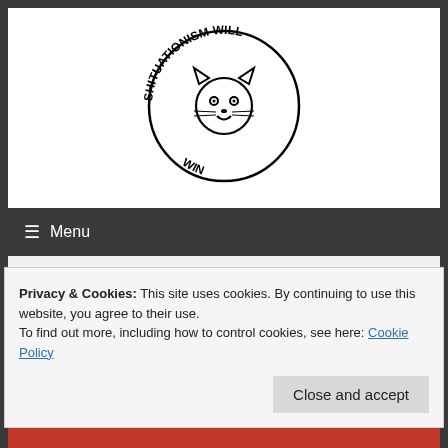[Figure (logo): Circular logo with a cartoon cat face in the center. Text reads 'SHITUATIONISM WILL WIN' arranged in a circle around the cat face, with some text upside down at the bottom.]
☰ Menu
festivals
Privacy & Cookies: This site uses cookies. By continuing to use this website, you agree to their use.
To find out more, including how to control cookies, see here: Cookie Policy
Close and accept